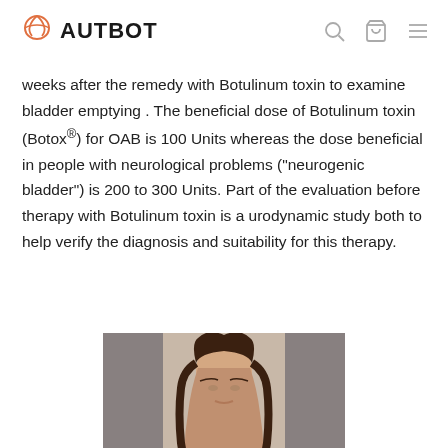AUTBOT
weeks after the remedy with Botulinum toxin to examine bladder emptying . The beneficial dose of Botulinum toxin (Botox®) for OAB is 100 Units whereas the dose beneficial in people with neurological problems (“neurogenic bladder”) is 200 to 300 Units. Part of the evaluation before therapy with Botulinum toxin is a urodynamic study both to help verify the diagnosis and suitability for this therapy.
[Figure (photo): Person with long dark hair, eyes closed, in a relaxed or meditative pose against a light background]